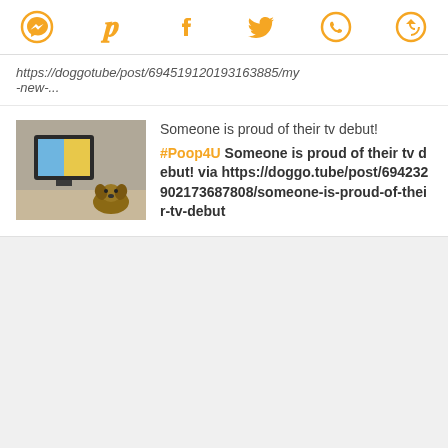[Figure (other): Social media share icons: Messenger, Pinterest, Facebook, Twitter, WhatsApp, and a circular arrow icon, all in orange]
https://doggotube/post/694519120193163885/my-new-...
[Figure (photo): Thumbnail photo of a dog sitting in front of a TV]
Someone is proud of their tv debut! #Poop4U Someone is proud of their tv debut! via https://doggo.tube/post/694232902173687808/someone-is-proud-of-their-tv-debut